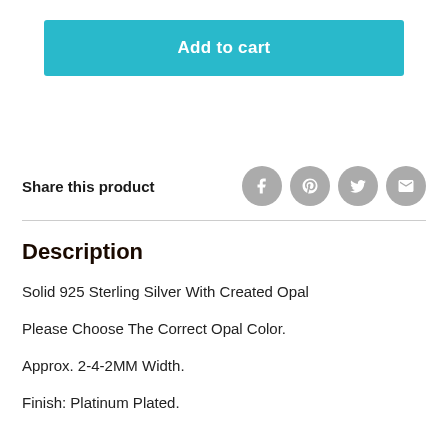[Figure (other): Add to cart button — teal/cyan background with white bold text]
Share this product
[Figure (other): Social sharing icons: Facebook, Pinterest, Twitter, Email — grey circles with white icons]
Description
Solid 925 Sterling Silver With Created Opal
Please Choose The Correct Opal Color.
Approx. 2-4-2MM Width.
Finish: Platinum Plated.